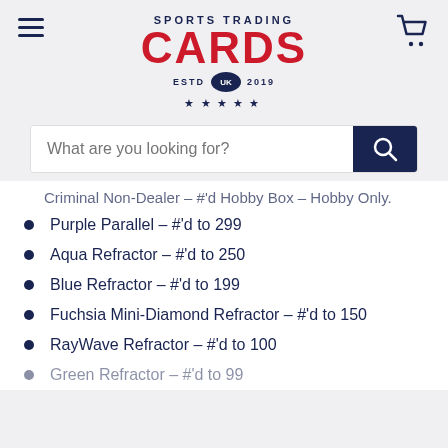[Figure (logo): Sports Trading Cards UK logo with hamburger menu and cart icon]
What are you looking for?
Criminal Non-Dealer – #'d Hobby Box – Hobby Only
Purple Parallel – #'d to 299
Aqua Refractor – #'d to 250
Blue Refractor – #'d to 199
Fuchsia Mini-Diamond Refractor – #'d to 150
RayWave Refractor – #'d to 100
Green Refractor – #'d to 99